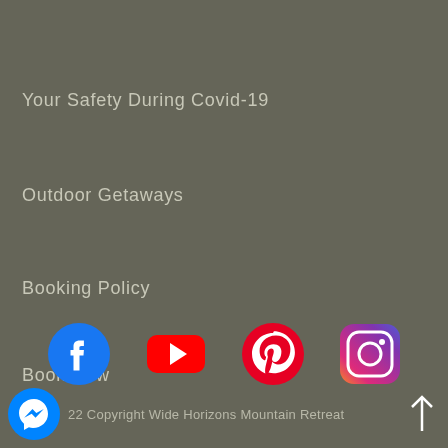Your Safety During Covid-19
Outdoor Getaways
Booking Policy
Book Now
[Figure (other): Social media icons: Facebook, YouTube, Pinterest, Instagram]
2022 Copyright Wide Horizons Mountain Retreat